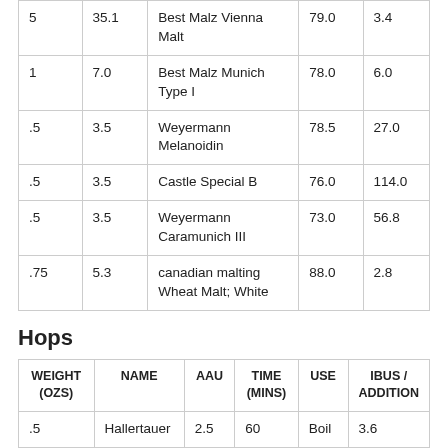| 5 | 35.1 | Best Malz Vienna Malt | 79.0 | 3.4 |
| 1 | 7.0 | Best Malz Munich Type I | 78.0 | 6.0 |
| .5 | 3.5 | Weyermann Melanoidin | 78.5 | 27.0 |
| .5 | 3.5 | Castle Special B | 76.0 | 114.0 |
| .5 | 3.5 | Weyermann Caramunich III | 73.0 | 56.8 |
| .75 | 5.3 | canadian malting Wheat Malt; White | 88.0 | 2.8 |
Hops
| WEIGHT (OZS) | NAME | AAU | TIME (MINS) | USE | IBUS / ADDITION |
| --- | --- | --- | --- | --- | --- |
| .5 | Hallertauer | 2.5 | 60 | Boil | 3.6 |